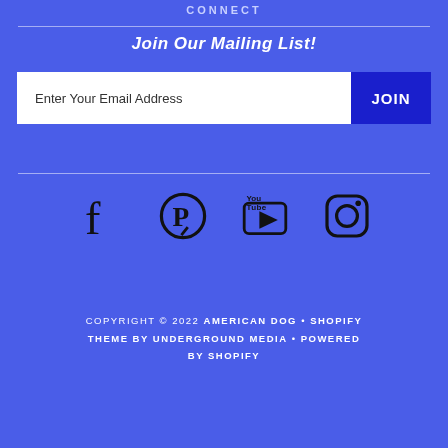CONNECT
Join Our Mailing List!
Enter Your Email Address  JOIN
[Figure (infographic): Social media icons: Facebook, Pinterest, YouTube, Instagram]
COPYRIGHT © 2022 AMERICAN DOG • SHOPIFY THEME BY UNDERGROUND MEDIA • POWERED BY SHOPIFY